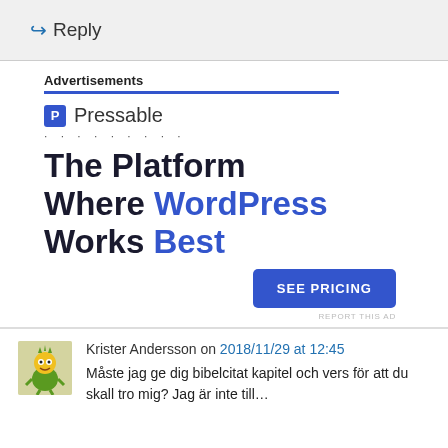↳ Reply
Advertisements
[Figure (other): Pressable advertisement banner. Shows Pressable logo with icon, dotted line, headline 'The Platform Where WordPress Works Best', a 'SEE PRICING' button, and 'REPORT THIS AD' label.]
Krister Andersson on 2018/11/29 at 12:45
Måste jag ge dig bibelcitat kapitel och vers för att du skall tro mig? Jag är inte till…